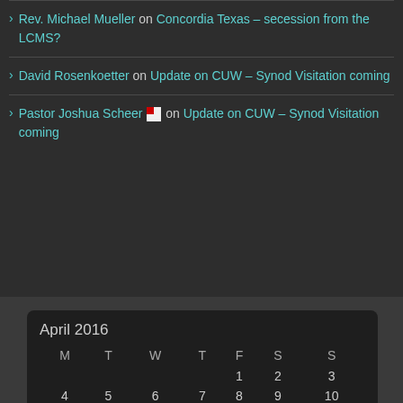Rev. Michael Mueller on Concordia Texas – secession from the LCMS?
David Rosenkoetter on Update on CUW – Synod Visitation coming
Pastor Joshua Scheer [icon] on Update on CUW – Synod Visitation coming
| M | T | W | T | F | S | S |
| --- | --- | --- | --- | --- | --- | --- |
|  |  |  |  | 1 | 2 | 3 |
| 4 | 5 | 6 | 7 | 8 | 9 | 10 |